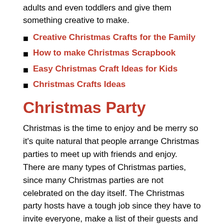adults and even toddlers and give them something creative to make.
Creative Christmas Crafts for the Family
How to make Christmas Scrapbook
Easy Christmas Craft Ideas for Kids
Christmas Crafts Ideas
Christmas Party
Christmas is the time to enjoy and be merry so it's quite natural that people arrange Christmas parties to meet up with friends and enjoy. There are many types of Christmas parties, since many Christmas parties are not celebrated on the day itself. The Christmas party hosts have a tough job since they have to invite everyone, make a list of their guests and organize everything. It means adding Christmas decorations, making Christmas recipes. Christmas parties are most of time organized indoors since the weather is rough at many places. Special Christmas recipes are spread out for the guests and